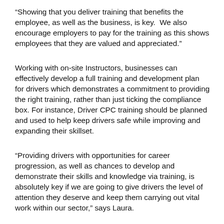“Showing that you deliver training that benefits the employee, as well as the business, is key.  We also encourage employers to pay for the training as this shows employees that they are valued and appreciated.”
Working with on-site Instructors, businesses can effectively develop a full training and development plan for drivers which demonstrates a commitment to providing the right training, rather than just ticking the compliance box. For instance, Driver CPC training should be planned and used to help keep drivers safe while improving and expanding their skillset.
“Providing drivers with opportunities for career progression, as well as chances to develop and demonstrate their skills and knowledge via training, is absolutely key if we are going to give drivers the level of attention they deserve and keep them carrying out vital work within our sector,” says Laura.